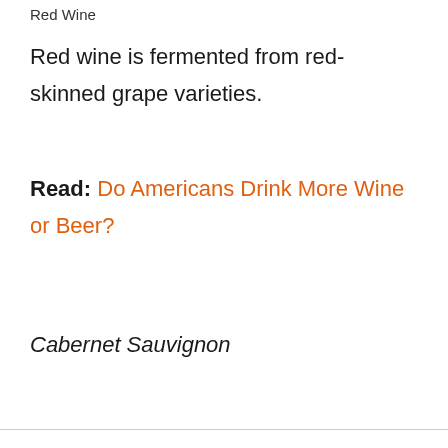Red Wine
Red wine is fermented from red-skinned grape varieties.
Read: Do Americans Drink More Wine or Beer?
Cabernet Sauvignon